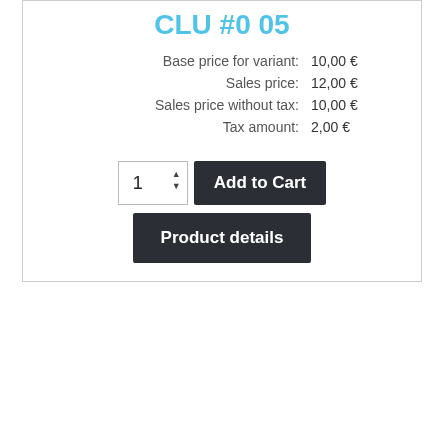CLU #0 05
| Label | Value |
| --- | --- |
| Base price for variant: | 10,00 € |
| Sales price: | 12,00 € |
| Sales price without tax: | 10,00 € |
| Tax amount: | 2,00 € |
[Figure (screenshot): E-commerce product card with quantity selector, Add to Cart button, and Product details button]
1
Add to Cart
Product details